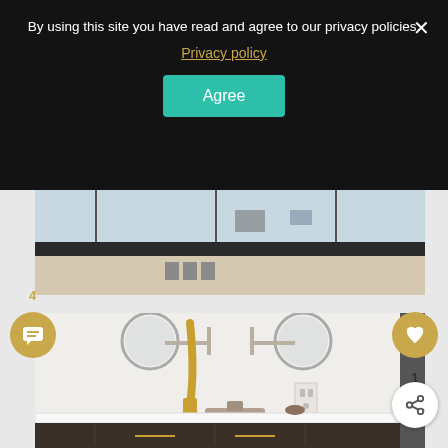By using this site you have read and agree to our privacy policies.
Privacy policy
Agree
[Figure (photo): Interior room with glass railing and windows, partially visible at top]
[Figure (photo): Bathroom vanity area showing gold/brass faucets, round mirrors on wall-mounted swing arms, white countertop with sink, and dark wood cabinet below]